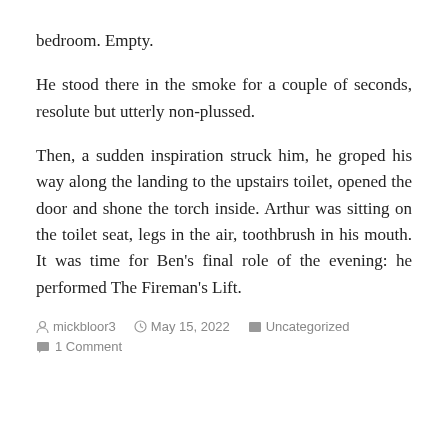bedroom. Empty.
He stood there in the smoke for a couple of seconds, resolute but utterly non-plussed.
Then, a sudden inspiration struck him, he groped his way along the landing to the upstairs toilet, opened the door and shone the torch inside. Arthur was sitting on the toilet seat, legs in the air, toothbrush in his mouth. It was time for Ben's final role of the evening: he performed The Fireman's Lift.
mickbloor3  May 15, 2022  Uncategorized  1 Comment